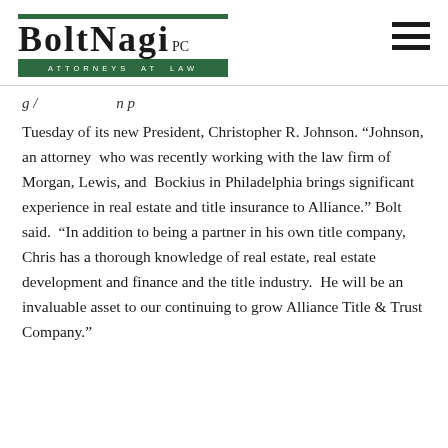[Figure (logo): BoltNagi PC Attorneys at Law logo with green bars and white text on green background]
Tuesday of its new President, Christopher R. Johnson. “Johnson, an attorney  who was recently working with the law firm of Morgan, Lewis, and  Bockius in Philadelphia brings significant experience in real estate and title insurance to Alliance.” Bolt said.  “In addition to being a partner in his own title company, Chris has a thorough knowledge of real estate, real estate development and finance and the title industry.  He will be an invaluable asset to our continuing to grow Alliance Title & Trust Company.”